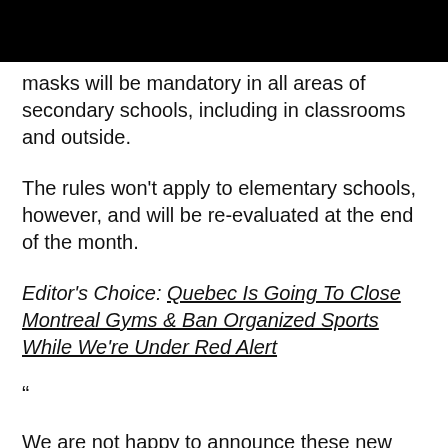masks will be mandatory in all areas of secondary schools, including in classrooms and outside.
The rules won't apply to elementary schools, however, and will be re-evaluated at the end of the month.
Editor's Choice: Quebec Is Going To Close Montreal Gyms & Ban Organized Sports While We're Under Red Alert
“
We are not happy to announce these new restrictions recommended by public health authorities. However, it is a sacrifice we must make.